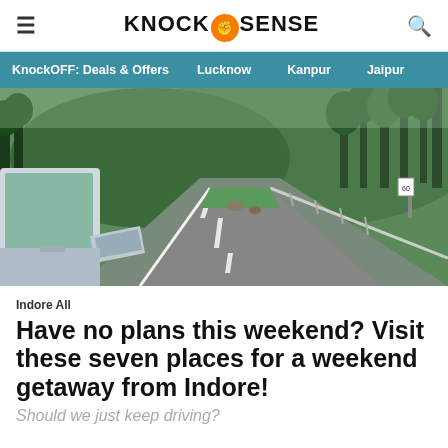KNOCK SENSE
KnockOFF: Deals & Offers | Lucknow | Kanpur | Jaipur
[Figure (photo): View from inside a car showing a winding road through lush green forest hills]
Indore All
Have no plans this weekend? Visit these seven places for a weekend getaway from Indore!
Should we just keep driving?